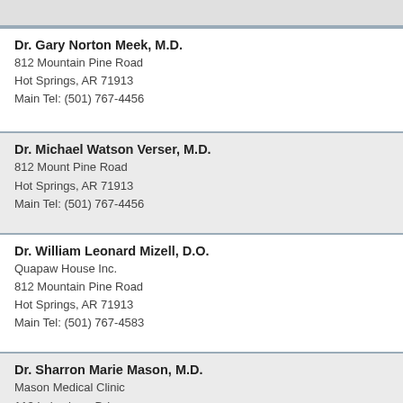Dr. Gary Norton Meek, M.D.
812 Mountain Pine Road
Hot Springs, AR 71913
Main Tel: (501) 767-4456
Dr. Michael Watson Verser, M.D.
812 Mount Pine Road
Hot Springs, AR 71913
Main Tel: (501) 767-4456
Dr. William Leonard Mizell, D.O.
Quapaw House Inc.
812 Mountain Pine Road
Hot Springs, AR 71913
Main Tel: (501) 767-4583
Dr. Sharron Marie Mason, M.D.
Mason Medical Clinic
113 Lakeshore Drive
Hot Springs, AR 71913
Main Tel: (501) 463-9079
Dr. ...